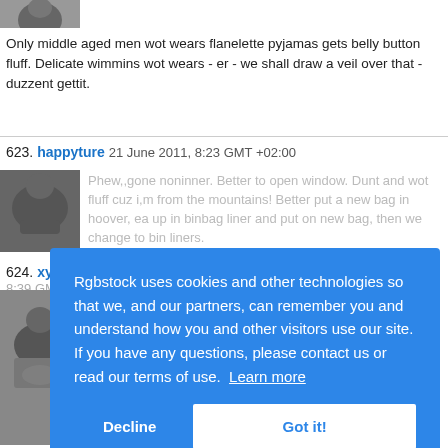[Figure (photo): Black and white avatar photo, partially visible at top]
Only middle aged men wot wears flanelette pyjamas gets belly button fluff. Delicate wimmins wot wears - er - we shall draw a veil over that - duzzent gettit.
623. happyture  21 June 2011, 8:23 GMT +02:00
[Figure (photo): Black and white profile photo of older person]
Phew,,gone noninner. Better to open window. Dunt and wot fluff cuz i,m from the mountains! Better put a new bag in hoover, ea up in binbag liner and put on new bag, then we change to bin liners.
624. xyronau  21 June 2011, 8:39 GMT +02:00
[Figure (photo): Black and white photo of woman smiling]
[Figure (screenshot): Cookie consent overlay: Rgbstock uses cookies and other technologies so that we, and our partners, can remember you and understand how you and other visitors use our site. If you have any questions, please contact us or read our terms of use. Learn more. Buttons: Decline, Got it!]